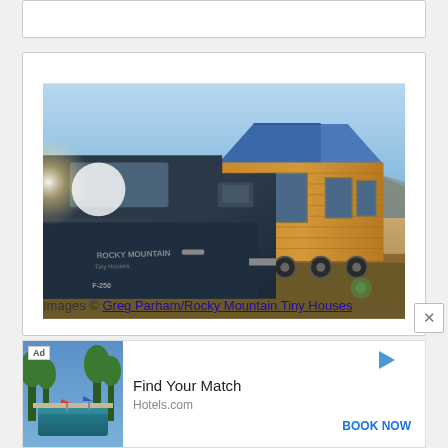[Figure (photo): A truck with 'Rocky Mountain Tiny Houses' text on the door towing a small wooden cabin-style tiny house on a trailer, set in an open desert landscape with mountains in the background and bright sun flare on the left.]
Images © Greg Parham/Rocky Mountain Tiny Houses
[Figure (infographic): Advertisement banner for Hotels.com showing a pool/resort image with text 'Find Your Match', 'Hotels.com', and a 'BOOK NOW' button.]